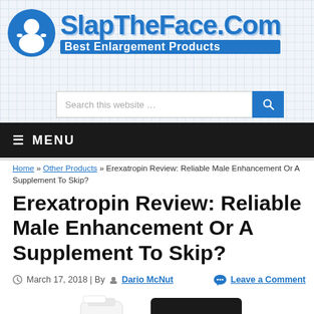[Figure (logo): SlapTheFace.Com logo with person icon and tagline 'Best Enlargement Products']
[Figure (screenshot): Search bar with placeholder 'Search this website ...' and blue search button]
≡ MENU
Home » Other Products » Erexatropin Review: Reliable Male Enhancement Or A Supplement To Skip?
Erexatropin Review: Reliable Male Enhancement Or A Supplement To Skip?
March 17, 2018 | By Dario McNut    Leave a Comment
[Figure (photo): Product photo showing white supplement bottle next to black container with gold logo marks]